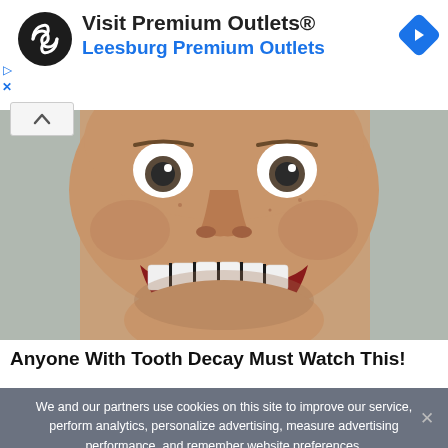[Figure (other): Advertisement banner: circular black logo with infinity symbol, text 'Visit Premium Outlets®' and 'Leesburg Premium Outlets' in blue, blue diamond navigation icon top right, with play and close icons on left edge]
[Figure (photo): Close-up photo of a man's face with wide eyes and a big exaggerated grin showing teeth]
Anyone With Tooth Decay Must Watch This!
We and our partners use cookies on this site to improve our service, perform analytics, personalize advertising, measure advertising performance, and remember website preferences.
Ok